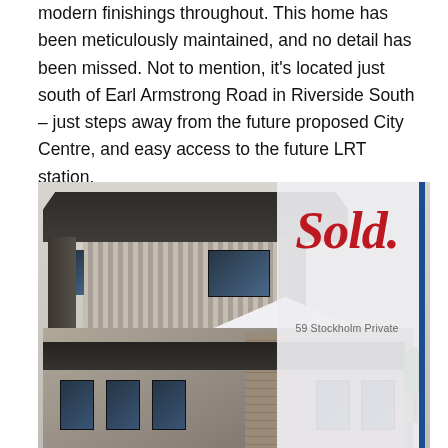modern finishings throughout. This home has been meticulously maintained, and no detail has been missed. Not to mention, it's located just south of Earl Armstrong Road in Riverside South – just steps away from the future proposed City Centre, and easy access to the future LRT station.
[Figure (photo): A 'Sold.' real estate promotional image for 59 Stockholm Private, featuring a modern townhouse exterior with dark overhangs, vertical siding panels, and large windows, with a cursive red 'Sold.' script and address text overlaid on the right panel with a blue vertical stripe.]